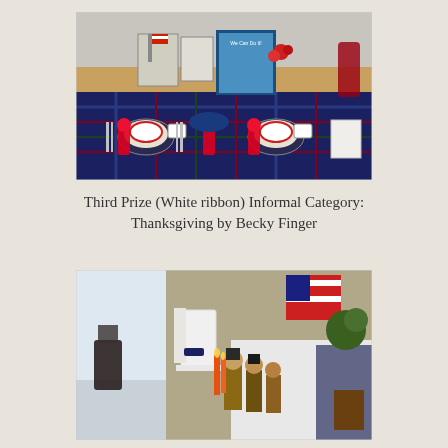[Figure (photo): A decorated table setting with a plaid navy/red/green tablecloth, red and white dishes, teacups, red ribbon awards, small American flag, and a 'We Can Do It!' Rosie the Riveter poster in the background.]
Third Prize (White ribbon) Informal Category: Thanksgiving by Becky Finger
[Figure (photo): A Thanksgiving-themed table display with harvest figurines, orange candles, an American flag in the background, white chairs, and autumn decorations.]